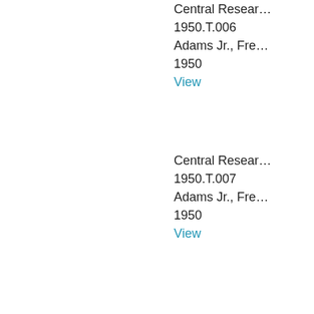Central Resear...
1950.T.006
Adams Jr., Fred
1950
View
Central Resear...
1950.T.007
Adams Jr., Fred
1950
View
Central Resear...
1950.T.009
Adams Jr., Fred
1950
View
Central Resear...
1950.T.010
Adams Jr., Fred
1950
View
Operative Build...
1950.T.011